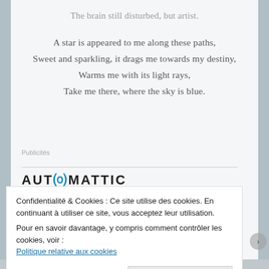The brain still disturbed, but artist.
A star is appeared to me along these paths,
Sweet and sparkling, it drags me towards my destiny,
Warms me with its light rays,
Take me there, where the sky is blue.
Publicités
[Figure (logo): AUTOMATTIC logo with blue circle in letter O]
Build a better web
Confidentialité & Cookies : Ce site utilise des cookies. En continuant à utiliser ce site, vous acceptez leur utilisation.
Pour en savoir davantage, y compris comment contrôler les cookies, voir :
Politique relative aux cookies
Fermer et accepter